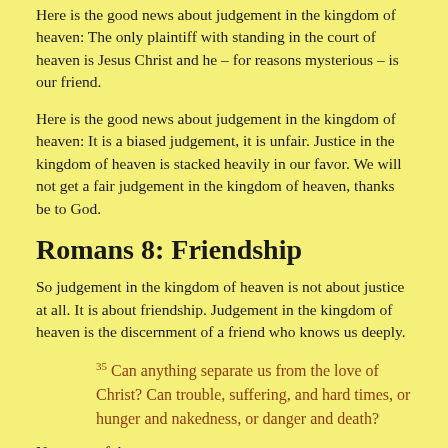Here is the good news about judgement in the kingdom of heaven: The only plaintiff with standing in the court of heaven is Jesus Christ and he – for reasons mysterious – is our friend.
Here is the good news about judgement in the kingdom of heaven: It is a biased judgement, it is unfair. Justice in the kingdom of heaven is stacked heavily in our favor. We will not get a fair judgement in the kingdom of heaven, thanks be to God.
Romans 8: Friendship
So judgement in the kingdom of heaven is not about justice at all. It is about friendship. Judgement in the kingdom of heaven is the discernment of a friend who knows us deeply.
35 Can anything separate us from the love of Christ? Can trouble, suffering, and hard times, or hunger and nakedness, or danger and death?
No, none of those.
How about stupidity, ignorance, or riding your bike in the middle lane of Holmgren Way next to a semi-trailer because you